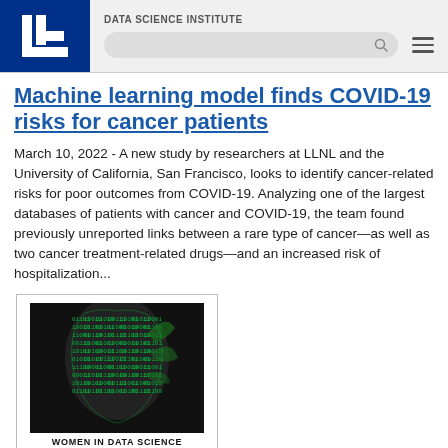DATA SCIENCE INSTITUTE
Machine learning model finds COVID-19 risks for cancer patients
March 10, 2022 - A new study by researchers at LLNL and the University of California, San Francisco, looks to identify cancer-related risks for poor outcomes from COVID-19. Analyzing one of the largest databases of patients with cancer and COVID-19, the team found previously unreported links between a rare type of cancer—as well as two cancer treatment-related drugs—and an increased risk of hospitalization...
[Figure (illustration): Women in Data Science Livermore logo — silhouette of a woman's head filled with green Matrix-style digital rain code]